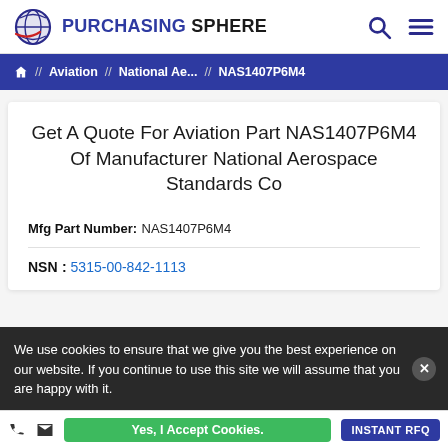PURCHASING SPHERE
Aviation // National Ae... // NAS1407P6M4
Get A Quote For Aviation Part NAS1407P6M4 Of Manufacturer National Aerospace Standards Co
Mfg Part Number: NAS1407P6M4
NSN : 5315-00-842-1113
We use cookies to ensure that we give you the best experience on our website. If you continue to use this site we will assume that you are happy with it.